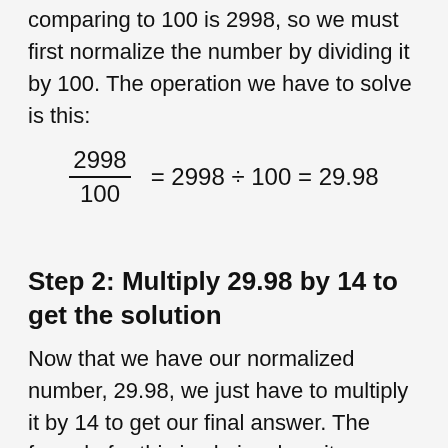comparing to 100 is 2998, so we must first normalize the number by dividing it by 100. The operation we have to solve is this:
Step 2: Multiply 29.98 by 14 to get the solution
Now that we have our normalized number, 29.98, we just have to multiply it by 14 to get our final answer. The forumla for this is obviously quite simple: